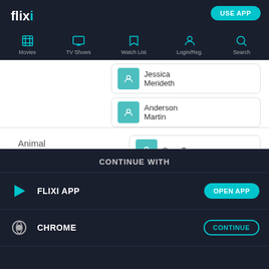flixi — USE APP navigation: Movies, TV Shows, Watch List, Login/Reg., Search
Jessica Merideth
Anderson Martin
Animal Wrangler — Greg Tresan, Carol Tresan
Post — Aron Koszeg
CONTINUE WITH
FLIXI APP — OPEN APP
CHROME — CONTINUE